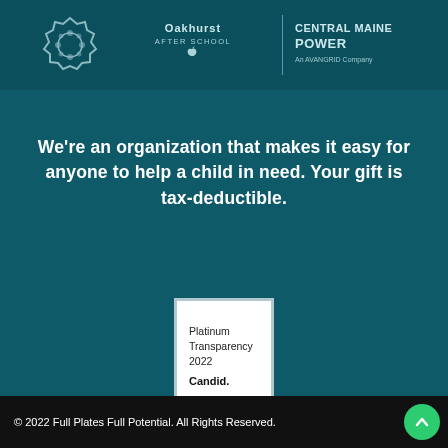[Figure (logo): Three sponsor logos at top: a floral/school logo on left, Oakhurst After School logo in center, Central Maine Power (An AVANGRID Company) on right]
We're an organization that makes it easy for anyone to help a child in need. Your gift is tax-deductible.
[Figure (logo): Platinum Transparency 2022 Candid. badge in white square with light blue border]
© 2022 Full Plates Full Potential. All Rights Reserved.